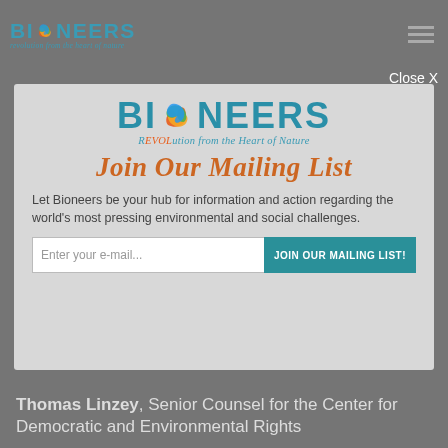[Figure (logo): Bioneers logo with swirl icon and tagline 'revolution from the heart of nature' in teal, small version in page header]
Close X
[Figure (infographic): Bioneers modal popup with large logo, 'Join Our Mailing List' heading in orange, body text, email input field and teal submit button]
Thomas Linzey, Senior Counsel for the Center for Democratic and Environmental Rights